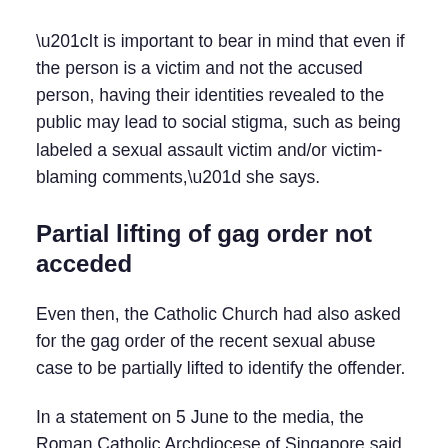“It is important to bear in mind that even if the person is a victim and not the accused person, having their identities revealed to the public may lead to social stigma, such as being labeled a sexual assault victim and/or victim-blaming comments,” she says.
Partial lifting of gag order not acceded
Even then, the Catholic Church had also asked for the gag order of the recent sexual abuse case to be partially lifted to identify the offender.
In a statement on 5 June to the media, the Roman Catholic Archdiocese of Singapore said